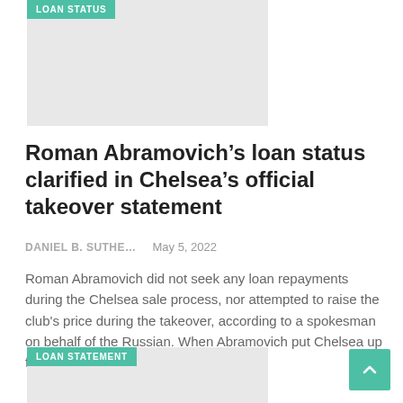[Figure (other): Image card with LOAN STATUS badge label, light gray placeholder image]
Roman Abramovich’s loan status clarified in Chelsea’s official takeover statement
DANIEL B. SUTHE…    May 5, 2022
Roman Abramovich did not seek any loan repayments during the Chelsea sale process, nor attempted to raise the club’s price during the takeover, according to a spokesman on behalf of the Russian. When Abramovich put Chelsea up for sale in!-->...
[Figure (other): Image card with LOAN STATEMENT badge label, light gray placeholder image]